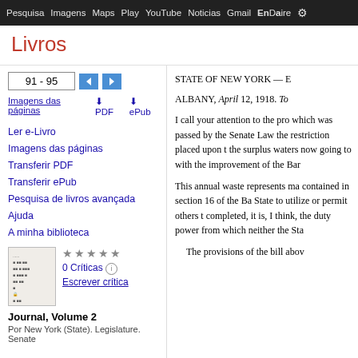Pesquisa  Imagens  Maps  Play  YouTube  Noticias  Gmail  EnDaire
Livros
91 - 95
Imagens das páginas
Ler e-Livro
Imagens das páginas
Transferir PDF
Transferir ePub
Pesquisa de livros avançada
Ajuda
A minha biblioteca
0 Críticas
Escrever crítica
Journal, Volume 2
Por New York (State). Legislature. Senate
STATE OF NEW YORK — E

ALBANY, April 12, 1918. To

I call your attention to the pro which was passed by the Senate Law the restriction placed upon t the surplus waters now going to with the improvement of the Bar

This annual waste represents ma contained in section 16 of the Ba State to utilize or permit others t completed, it is, I think, the duty power from which neither the Sta

The provisions of the bill abov